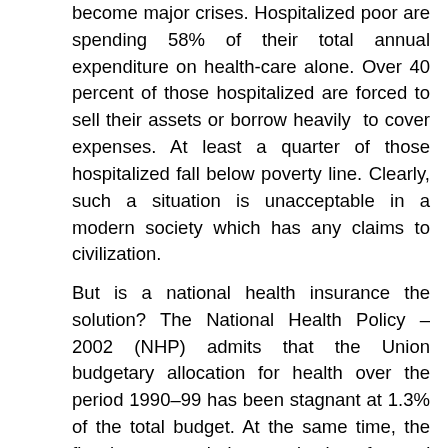become major crises. Hospitalized poor are spending 58% of their total annual expenditure on health-care alone. Over 40 percent of those hospitalized are forced to sell their assets or borrow heavily to cover expenses. At least a quarter of those hospitalized fall below poverty line. Clearly, such a situation is unacceptable in a modern society which has any claims to civilization.
But is a national health insurance the solution? The National Health Policy – 2002 (NHP) admits that the Union budgetary allocation for health over the period 1990–99 has been stagnant at 1.3% of the total budget. At the same time, the fiscal pressures led to a reduction of states' public health expenditure from 7% to 5.5%. Of